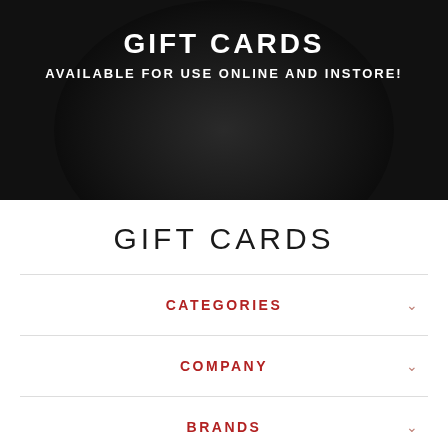[Figure (illustration): Dark banner with white bold text 'GIFT CARDS' and 'AVAILABLE FOR USE ONLINE AND INSTORE!' on a black background with a dark circular shape]
GIFT CARDS
CATEGORIES
COMPANY
BRANDS
Subscribe to get special offers, free giveaways, and once-in-a-lifetime deals.